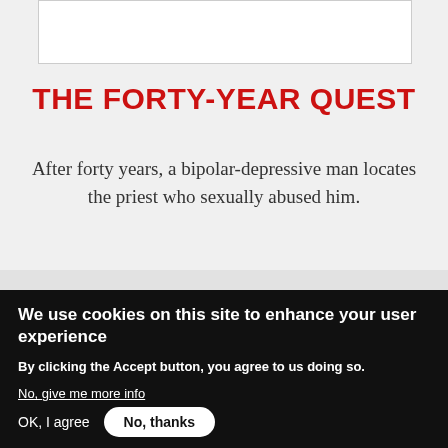[Figure (other): White box / card element at top of page, partially visible]
THE FORTY-YEAR QUEST
After forty years, a bipolar-depressive man locates the priest who sexually abused him.
Short  Drama  Available for Free  7pp  🗎
We use cookies on this site to enhance your user experience
By clicking the Accept button, you agree to us doing so.
No, give me more info
OK, I agree
No, thanks